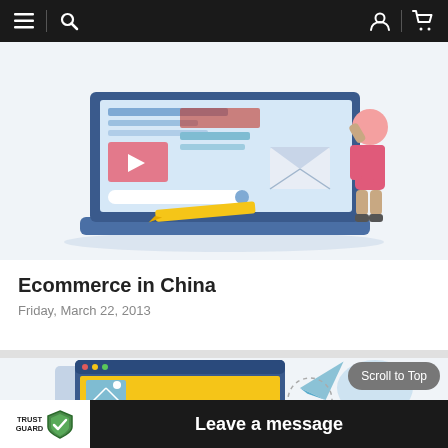Navigation bar with menu, search, account, and cart icons
[Figure (illustration): Illustration of a laptop screen with UI elements (video player, search bar, email/envelope icon) and a person in a pink shirt standing beside it, with a pencil in the foreground]
Ecommerce in China
Friday, March 22, 2013
[Figure (illustration): Illustration of web/browser windows with UI elements (image placeholder, video player), a paper plane, speech bubble, and a person in a pink shirt holding a megaphone]
Scroll to Top
TRUST GUARD  Leave a message